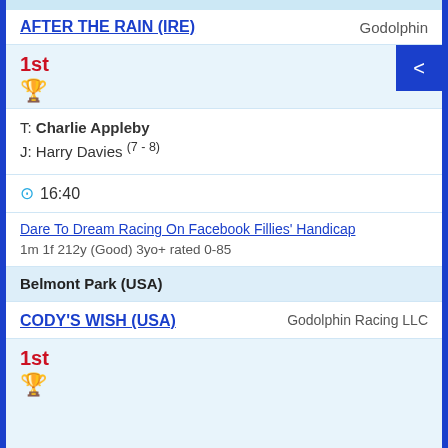AFTER THE RAIN (IRE)  Godolphin
1st
T: Charlie Appleby
J: Harry Davies (7-8)
16:40
Dare To Dream Racing On Facebook Fillies' Handicap
1m 1f 212y (Good) 3yo+ rated 0-85
Belmont Park (USA)
CODY'S WISH (USA)  Godolphin Racing LLC
1st